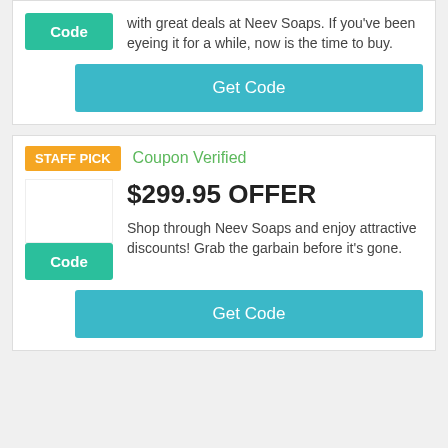with great deals at Neev Soaps. If you've been eyeing it for a while, now is the time to buy.
Get Code
STAFF PICK
Coupon Verified
$299.95 OFFER
Shop through Neev Soaps and enjoy attractive discounts! Grab the garbain before it's gone.
Get Code